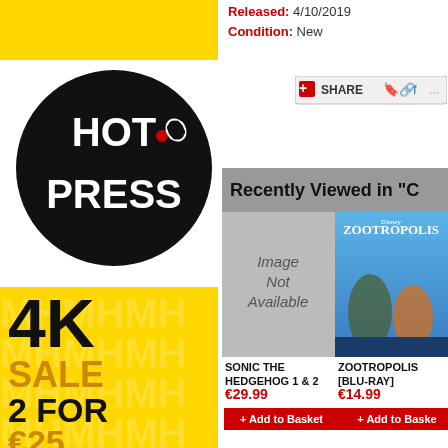[Figure (logo): Yellow banner top left]
[Figure (logo): Hot Press magazine logo — black circle with HOT PRESS text in white]
Released: 4/10/2019
Condition: New
[Figure (screenshot): Share button with social icons]
Recently Viewed in "C
[Figure (photo): Image Not Available placeholder for Sonic the Hedgehog 1 & 2]
SONIC THE HEDGEHOG 1 & 2
€29.99
+ Add to Basket
[Figure (photo): Zootropolis Blu-ray cover image]
ZOOTROPOLIS [BLU-RAY]
€14.99
+ Add to Basket
[Figure (other): 4K SALE 2 FOR €25 promotional banner with yellow background and bold black/gold text]